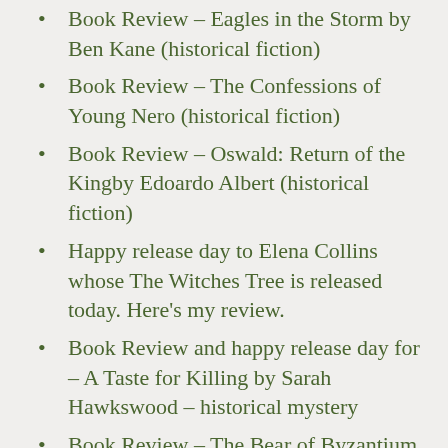Book Review – Eagles in the Storm by Ben Kane (historical fiction)
Book Review – The Confessions of Young Nero (historical fiction)
Book Review – Oswald: Return of the Kingby Edoardo Albert (historical fiction)
Happy release day to Elena Collins whose The Witches Tree is released today. Here's my review.
Book Review and happy release day for – A Taste for Killing by Sarah Hawkswood – historical mystery
Book Review – The Bear of Byzantium by S J A Turney – historical fiction
Today, I'm reviewing A Night of Flames by Matthew Harffy as part of the new release #BlogTour #Arion